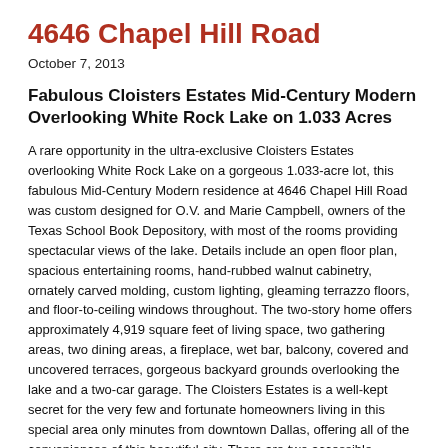4646 Chapel Hill Road
October 7, 2013
Fabulous Cloisters Estates Mid-Century Modern Overlooking White Rock Lake on 1.033 Acres
A rare opportunity in the ultra-exclusive Cloisters Estates overlooking White Rock Lake on a gorgeous 1.033-acre lot, this fabulous Mid-Century Modern residence at 4646 Chapel Hill Road was custom designed for O.V. and Marie Campbell, owners of the Texas School Book Depository, with most of the rooms providing spectacular views of the lake. Details include an open floor plan, spacious entertaining rooms, hand-rubbed walnut cabinetry, ornately carved molding, custom lighting, gleaming terrazzo floors, and floor-to-ceiling windows throughout. The two-story home offers approximately 4,919 square feet of living space, two gathering areas, two dining areas, a fireplace, wet bar, balcony, covered and uncovered terraces, gorgeous backyard grounds overlooking the lake and a two-car garage. The Cloisters Estates is a well-kept secret for the very few and fortunate homeowners living in this special area only minutes from downtown Dallas, offering all of the conveniences of this beautiful city. There are two accessible entrances to the property. Enter from West Lowther Drive and proceed up the curved driveway